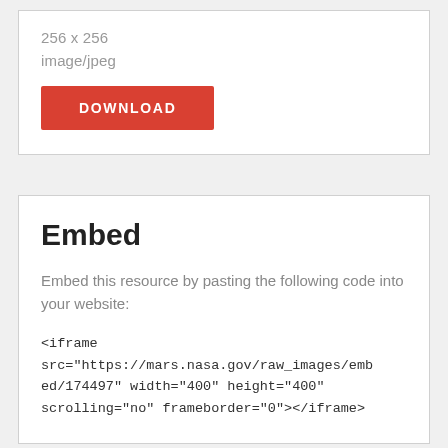256 x 256
image/jpeg
DOWNLOAD
Embed
Embed this resource by pasting the following code into your website:
<iframe src="https://mars.nasa.gov/raw_images/embed/174497" width="400" height="400" scrolling="no" frameborder="0"></iframe>